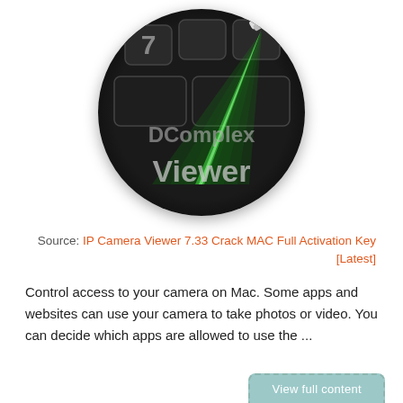[Figure (logo): Circular app icon with dark/black background showing keyboard keys, a green laser/spotlight beam emanating from upper right, text 'DComplex' in gray and 'Viewer' in large light gray text at the bottom.]
Source: IP Camera Viewer 7.33 Crack MAC Full Activation Key [Latest]
Control access to your camera on Mac. Some apps and websites can use your camera to take photos or video. You can decide which apps are allowed to use the ...